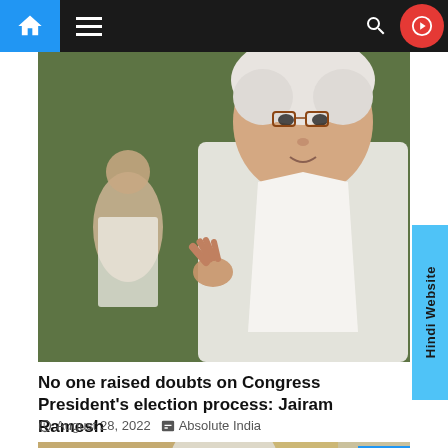Navigation bar with home, menu, search, and video icons
[Figure (photo): Jairam Ramesh, senior Congress leader with white hair and glasses, wearing white kurta, speaking outdoors with other people in background near a dark statue]
No one raised doubts on Congress President's election process: Jairam Ramesh
August 28, 2022  Absolute India
[Figure (photo): Partially visible photo of an elderly man in formal attire, likely at an indoor setting with curtains in background]